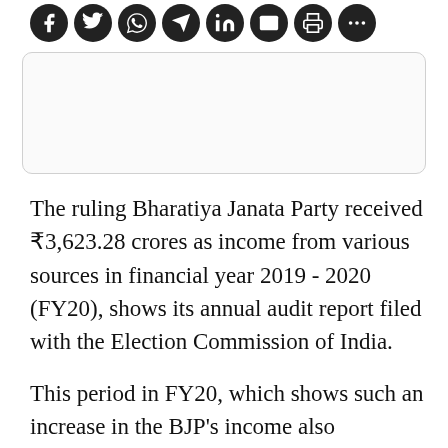[Figure (other): Row of social media sharing icons: Facebook, Twitter, WhatsApp, Telegram, LinkedIn, Email, Print, and one more (dark circle)]
[Figure (other): Advertisement box placeholder with rounded border]
The ruling Bharatiya Janata Party received ₹3,623.28 crores as income from various sources in financial year 2019 - 2020 (FY20), shows its annual audit report filed with the Election Commission of India.
This period in FY20, which shows such an increase in the BJP's income also corresponds to the Lok Sabha elections that took place over April and May 2019...